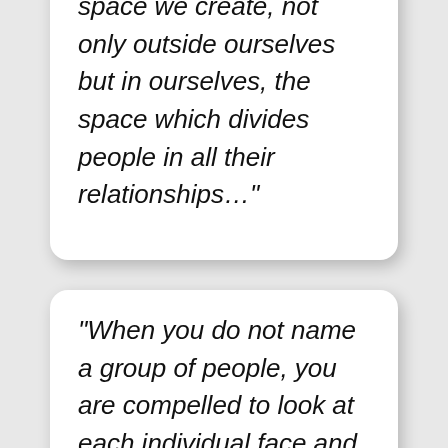space we create, not only outside ourselves but in ourselves, the space which divides people in all their relationships…”
“When you do not name a group of people, you are compelled to look at each individual face and not treat